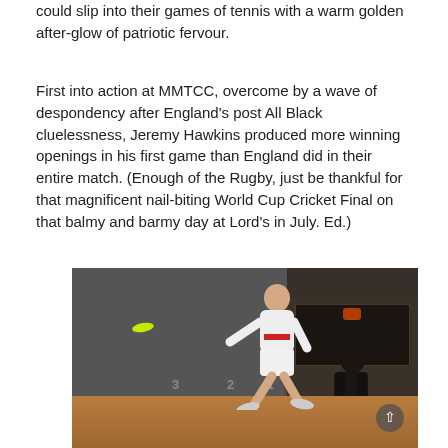could slip into their games of tennis with a warm golden after-glow of patriotic fervour.
First into action at MMTCC, overcome by a wave of despondency after England's post All Black cluelessness, Jeremy Hawkins produced more winning openings in his first game than England did in their entire match. (Enough of the Rugby, just be thankful for that magnificent nail-biting World Cup Cricket Final on that balmy and barmy day at Lord's in July. Ed.)
[Figure (photo): A player in white shorts and shirt lunging to return a yellow ball on an indoor real tennis court. A marker board with numbers 1, 2, 3 is visible near the floor. A person stands in the gallery/dedans area on the right side, with a heater visible above.]